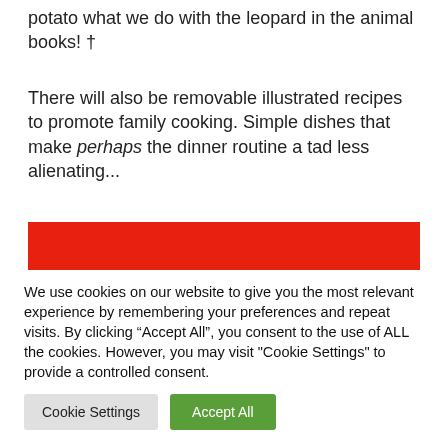potato what we do with the leopard in the animal books! †
There will also be removable illustrated recipes to promote family cooking. Simple dishes that make perhaps the dinner routine a tad less alienating...
[Figure (photo): Red background with a partial curved dark outline shape visible at the bottom, resembling an animal book illustration.]
We use cookies on our website to give you the most relevant experience by remembering your preferences and repeat visits. By clicking “Accept All”, you consent to the use of ALL the cookies. However, you may visit "Cookie Settings" to provide a controlled consent.